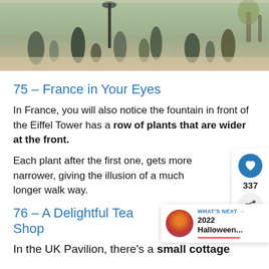[Figure (photo): Crowd of people walking along a wide outdoor promenade or park area, sunny day, trees in background.]
75 – France in Your Eyes
In France, you will also notice the fountain in front of the Eiffel Tower has a row of plants that are wider at the front.
Each plant after the first one, gets more narrower, giving the illusion of a much longer walk way.
76 – A Delightful Tea Shop
In the UK Pavilion, there's a small cottage